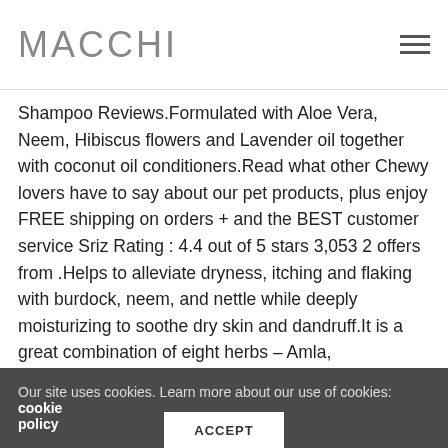MACCHI
Shampoo Reviews.Formulated with Aloe Vera, Neem, Hibiscus flowers and Lavender oil together with coconut oil conditioners.Read what other Chewy lovers have to say about our pet products, plus enjoy FREE shipping on orders + and the BEST customer service Sriz Rating : 4.4 out of 5 stars 3,053 2 offers from .Helps to alleviate dryness, itching and flaking with burdock, neem, and nettle while deeply moisturizing to soothe dry skin and dandruff.It is a great combination of eight herbs – Amla, Hibiscus.This shampoo recipe is our proprietary blend and was formulated by a naturopathic doctor.Along with neem this anti dandruff shampoo also has the rosemary oil.When I used it for the first time I made a mistake and squeezed out too much of shampoo.Lever Ayush Anti Dandruff Neem Shampoo-For beautiful ladies, Watch Lever Ayush Anti Dandruff Neem Shampoo-Review So, who doesn't want a good anti
Our site uses cookies. Learn more about our use of cookies: cookie policy
ACCEPT